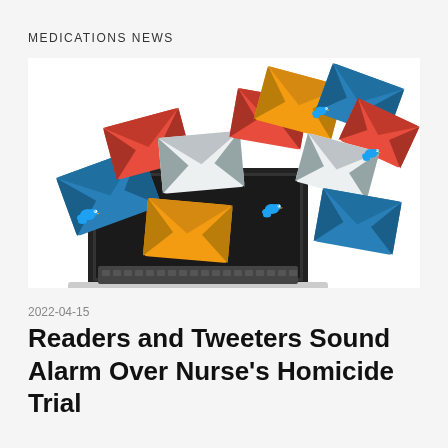MEDICATIONS NEWS
[Figure (illustration): Illustration of a laptop with colorful email envelopes (blue, orange/red, yellow, grey) and Twitter bird icons flying out of the screen, representing social media and email communication.]
2022-04-15
Readers and Tweeters Sound Alarm Over Nurse's Homicide Trial